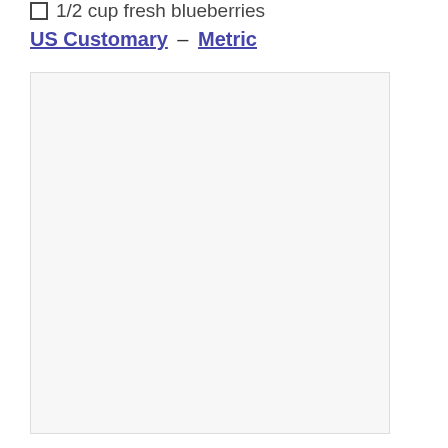1/2 cup fresh blueberries
US Customary – Metric